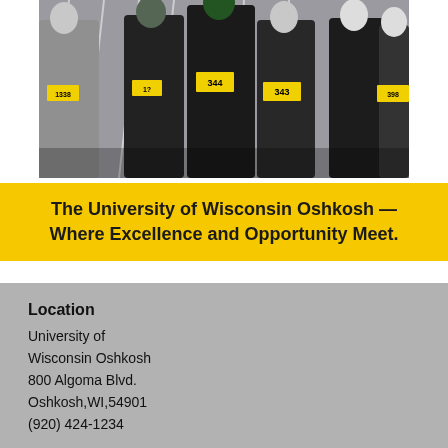[Figure (photo): Group of runners in a road race wearing numbered bibs (1338, 344, 343, 398) in dark clothing running on a street with metal barriers in the background.]
The University of Wisconsin Oshkosh — Where Excellence and Opportunity Meet.
Location
University of Wisconsin Oshkosh
800 Algoma Blvd.
Oshkosh,WI,54901
(920) 424-1234